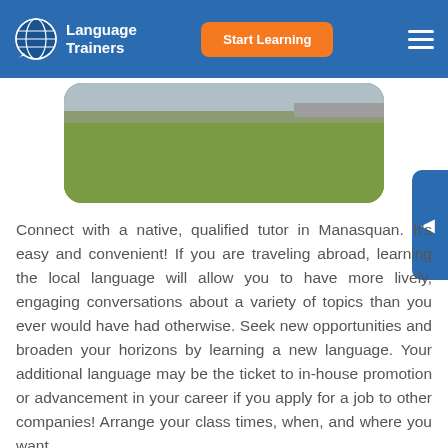Language Trainers | Start Learning
[Figure (photo): Outdoor photo showing a grassy field with a stone wall and road in the background, rounded corners]
Connect with a native, qualified tutor in Manasquan. It's easy and convenient! If you are traveling abroad, learning the local language will allow you to have more lively, engaging conversations about a variety of topics than you ever would have had otherwise. Seek new opportunities and broaden your horizons by learning a new language. Your additional language may be the ticket to in-house promotion or advancement in your career if you apply for a job to other companies! Arrange your class times, when, and where you want